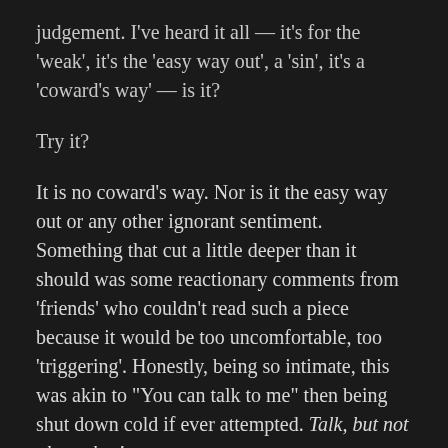judgement. I've heard it all — it's for the 'weak', it's the 'easy way out', a 'sin', it's a 'coward's way' — is it?
Try it?
It is no coward's way. Nor is it the easy way out or any other ignorant sentiment. Something that cut a little deeper than it should was some reactionary comments from 'friends' who couldn't read such a piece because it would be too uncomfortable, too 'triggering'. Honestly, being so intimate, this was akin to "You can talk to me" then being shut down cold if ever attempted. Talk, but not about that!